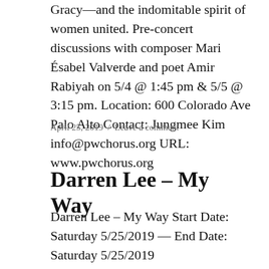Gracy—and the indomitable spirit of women united. Pre-concert discussions with composer Mari Ésabel Valverde and poet Amir Rabiyah on 5/4 @ 1:45 pm & 5/5 @ 3:15 pm. Location: 600 Colorado Ave Palo Alto Contact: Jungmee Kim info@pwchorus.org URL: www.pwchorus.org
April 25, 2019 / Leave a comment
Darren Lee – My Way
Darren Lee – My Way Start Date: Saturday 5/25/2019 — End Date: Saturday 5/25/2019 Admission:$36-$46 With major shows in Las Vegas and Hawaii, this tribute artist has been wowing audiences with his homage to 'The...